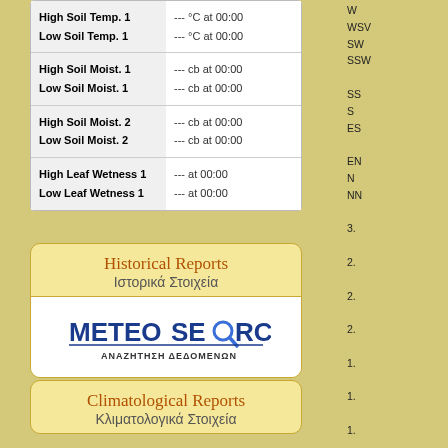| Parameter | Value |
| --- | --- |
| High Soil Temp. 1 | --- °C at 00:00 |
| Low Soil Temp. 1 | --- °C at 00:00 |
| High Soil Moist. 1 | --- cb at 00:00 |
| Low Soil Moist. 1 | --- cb at 00:00 |
| High Soil Moist. 2 | --- cb at 00:00 |
| Low Soil Moist. 2 | --- cb at 00:00 |
| High Leaf Wetness 1 | --- at 00:00 |
| Low Leaf Wetness 1 | --- at 00:00 |
Historical Reports / Ιστορικά Στοιχεία
[Figure (logo): METEO SEARCH logo with magnifying glass icon and subtitle ΑΝΑΖΗΤΗΣΗ ΔΕΔΟΜΕΝΩΝ]
Climatological Reports / Κλιματολογικά Στοιχεία
W WSV SW SSW SS S ES EN N NN 3. 2. 2. 2. 1. 1. 1. 0. 0. 0.